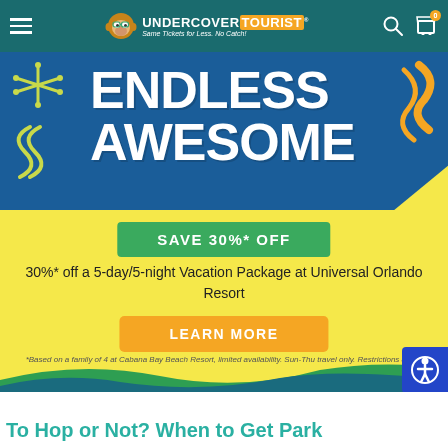Undercover Tourist — Some Tickets for Less. No Catch!
[Figure (illustration): Promotional banner with 'ENDLESS AWESOME' text on dark blue background with yellow background, decorative star and squiggle shapes in green/yellow, orange decorative shapes on right, green 'SAVE 30%* OFF' button, orange 'LEARN MORE' button, and blue accessibility icon on right side.]
30%* off a 5-day/5-night Vacation Package at Universal Orlando Resort
*Based on a family of 4 at Cabana Bay Beach Resort, limited availability. Sun-Thu travel only. Restrictions apply.
To Hop or Not? When to Get Park